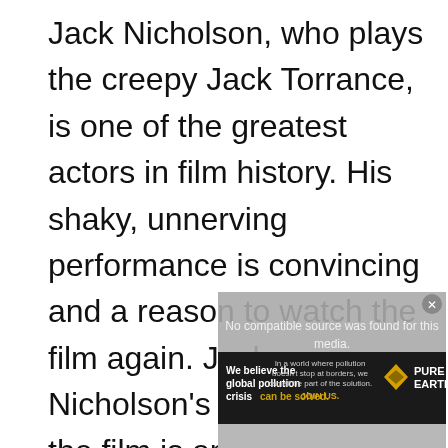Jack Nicholson, who plays the creepy Jack Torrance, is one of the greatest actors in film history. His shaky, unnerving performance is convincing and a reason to watch the film again. Jack Nicholson's performance in the film is one of the best of his career.

His portrayal of a frightened hotel quest
[Figure (screenshot): Gray overlay box showing 'No compatible source was found for this media.' with a close button. Below is a video thumbnail area with a PURE EARTH advertisement banner overlaid.]